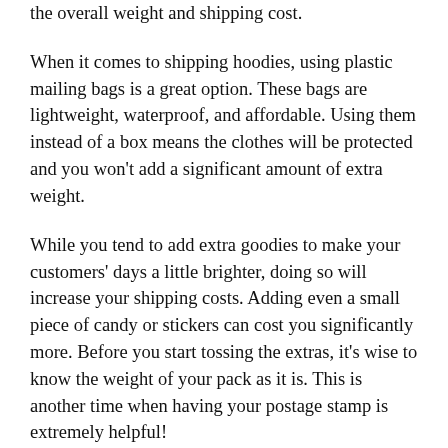the overall weight and shipping cost.
When it comes to shipping hoodies, using plastic mailing bags is a great option. These bags are lightweight, waterproof, and affordable. Using them instead of a box means the clothes will be protected and you won't add a significant amount of extra weight.
While you tend to add extra goodies to make your customers' days a little brighter, doing so will increase your shipping costs. Adding even a small piece of candy or stickers can cost you significantly more. Before you start tossing the extras, it's wise to know the weight of your pack as it is. This is another time when having your postage stamp is extremely helpful!
If you run a business, you may also want to consider calculating the cost of returns. Since it's impossible to please everyone, you'll likely